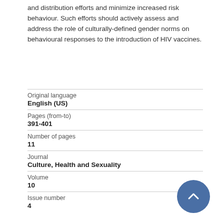and distribution efforts and minimize increased risk behaviour. Such efforts should actively assess and address the role of culturally-defined gender norms on behavioural responses to the introduction of HIV vaccines.
| Original language | English (US) |
| Pages (from-to) | 391-401 |
| Number of pages | 11 |
| Journal | Culture, Health and Sexuality |
| Volume | 10 |
| Issue number | 4 |